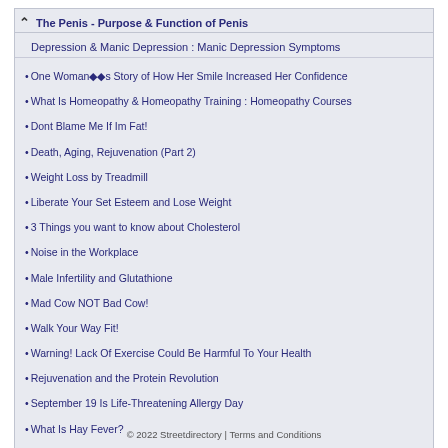The Penis - Purpose & Function of Penis
Depression & Manic Depression : Manic Depression Symptoms
One Womanýýs Story of How Her Smile Increased Her Confidence
What Is Homeopathy & Homeopathy Training : Homeopathy Courses
Dont Blame Me If Im Fat!
Death, Aging, Rejuvenation (Part 2)
Weight Loss by Treadmill
Liberate Your Set Esteem and Lose Weight
3 Things you want to know about Cholesterol
Noise in the Workplace
Male Infertility and Glutathione
Mad Cow NOT Bad Cow!
Walk Your Way Fit!
Warning! Lack Of Exercise Could Be Harmful To Your Health
Rejuvenation and the Protein Revolution
September 19 Is Life-Threatening Allergy Day
What Is Hay Fever?
Beat the Morning Rush
When Should Hearing Be Tested?
» More on Health
© 2022 Streetdirectory | Terms and Conditions